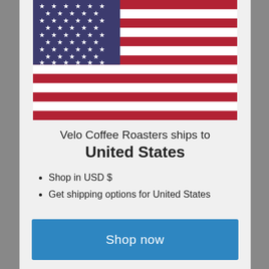[Figure (illustration): US flag SVG illustration]
Velo Coffee Roasters ships to United States
Shop in USD $
Get shipping options for United States
Shop now